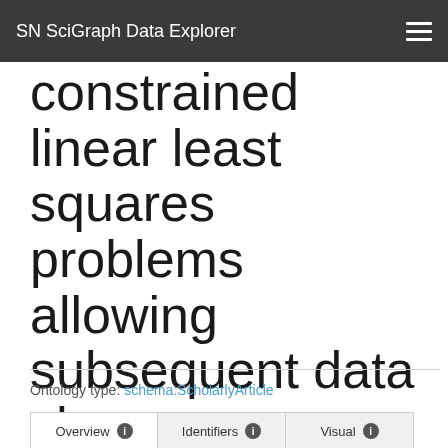SN SciGraph Data Explorer
constrained linear least squares problems allowing subsequent data changes
Ontology type: schema:ScholarlyArticle
Overview | Identifiers | Visual | JSON-LD | Triples | Developers